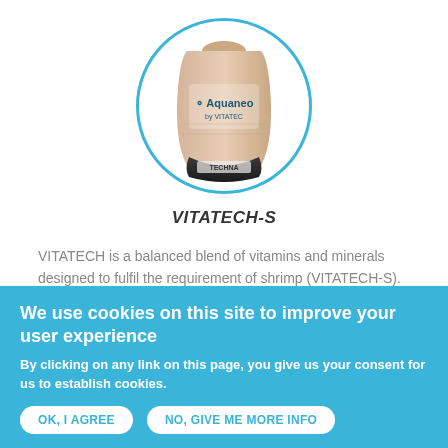[Figure (photo): Product bag labeled 'Aquaneo by VITATECH' inside a circular blue-bordered frame]
VITATECH-S
VITATECH is a balanced blend of vitamins and minerals designed to fulfil the requirement of shrimp (VITATECH-S).  […]
We use cookies on this site to improve your user experience
By clicking on any link on this page, you give us your consent for us to establish cookies.
OK, I AGREE    NO, GIVE ME MORE INFO